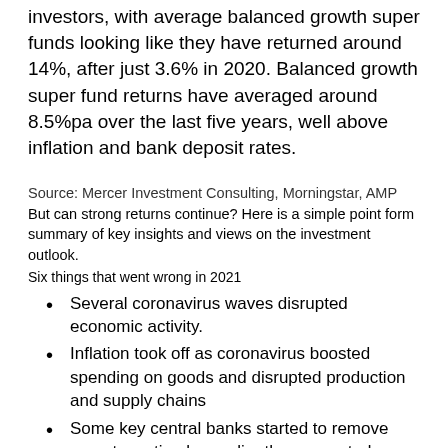investors, with average balanced growth super funds looking like they have returned around 14%, after just 3.6% in 2020. Balanced growth super fund returns have averaged around 8.5%pa over the last five years, well above inflation and bank deposit rates.
Source: Mercer Investment Consulting, Morningstar, AMP
But can strong returns continue? Here is a simple point form summary of key insights and views on the investment outlook.
Six things that went wrong in 2021
Several coronavirus waves disrupted economic activity.
Inflation took off as coronavirus boosted spending on goods and disrupted production and supply chains
Some key central banks started to remove monetary stimulus earlier than expected